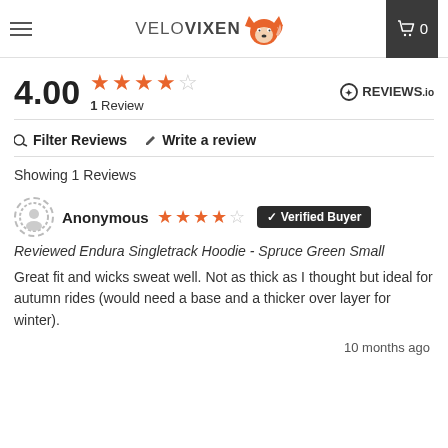VELOVIXEN (hamburger menu, cart icon with 0)
4.00 ★★★★☆ 1 Review | REVIEWS.io
Filter Reviews | Write a review
Showing 1 Reviews
Anonymous ★★★★☆ Verified Buyer
Reviewed Endura Singletrack Hoodie - Spruce Green Small
Great fit and wicks sweat well. Not as thick as I thought but ideal for autumn rides (would need a base and a thicker over layer for winter).
10 months ago